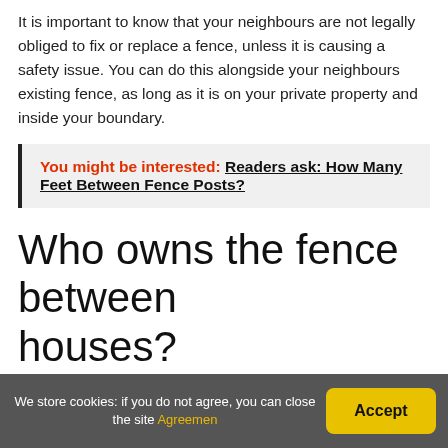It is important to know that your neighbours are not legally obliged to fix or replace a fence, unless it is causing a safety issue. You can do this alongside your neighbours existing fence, as long as it is on your private property and inside your boundary.
You might be interested:  Readers ask: How Many Feet Between Fence Posts?
Who owns the fence between houses?
There is no general rule about whether you own the fence on the left or right side of your home.
We store cookies: if you do not agree, you can close the site Agreemen